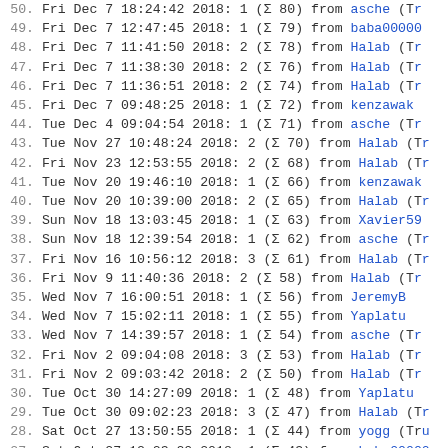50. Fri Dec  7 18:24:42 2018: 1 (Σ 80) from asche (Tr
49. Fri Dec  7 12:47:45 2018: 1 (Σ 79) from baba0000
48. Fri Dec  7 11:41:50 2018: 2 (Σ 78) from Halab (Tr
47. Fri Dec  7 11:38:30 2018: 2 (Σ 76) from Halab (Tr
46. Fri Dec  7 11:36:51 2018: 2 (Σ 74) from Halab (Tr
45. Fri Dec  7 09:48:25 2018: 1 (Σ 72) from kenzawak
44. Tue Dec  4 09:04:54 2018: 1 (Σ 71) from asche (Tr
43. Tue Nov 27 10:48:24 2018: 2 (Σ 70) from Halab (Tr
42. Fri Nov 23 12:53:55 2018: 2 (Σ 68) from Halab (Tr
41. Tue Nov 20 19:46:10 2018: 1 (Σ 66) from kenzawak
40. Tue Nov 20 10:39:00 2018: 2 (Σ 65) from Halab (Tr
39. Sun Nov 18 13:03:45 2018: 1 (Σ 63) from Xavier59
38. Sun Nov 18 12:39:54 2018: 1 (Σ 62) from asche (Tr
37. Fri Nov 16 10:56:12 2018: 3 (Σ 61) from Halab (Tr
36. Fri Nov  9 11:40:36 2018: 2 (Σ 58) from Halab (Tr
35. Wed Nov  7 16:00:51 2018: 1 (Σ 56) from JeremyB
34. Wed Nov  7 15:02:11 2018: 1 (Σ 55) from Yaplatu
33. Wed Nov  7 14:39:57 2018: 1 (Σ 54) from asche (Tr
32. Fri Nov  2 09:04:08 2018: 3 (Σ 53) from Halab (Tr
31. Fri Nov  2 09:03:42 2018: 2 (Σ 50) from Halab (Tr
30. Tue Oct 30 14:27:09 2018: 1 (Σ 48) from Yaplatu
29. Tue Oct 30 09:02:23 2018: 3 (Σ 47) from Halab (Tr
28. Sat Oct 27 13:50:55 2018: 1 (Σ 44) from yogg (Tru
27. Sat Oct 27 12:23:20 2018: 1 (Σ 43) from baba0000
26. Thu Oct 25 17:38:20 2018: 2 (Σ 42) from Yaplatu
25. Thu Oct 25 16:55:40 2018: 1 (Σ 40) from F2b (Trus
24. Thu Oct 25 09:58:07 2018: 2 (Σ 39) from Halab (Tr
23. Thu Oct 25 09:57:30 2018: 4 (Σ 37) from Halab (Tr
22. Thu Oct 25 09:53:00 2018: 3 (Σ 33) from Halab (Tr
21. Tue Oct 23 11:28:03 2018: 1 (Σ 30) from F2b (Trus